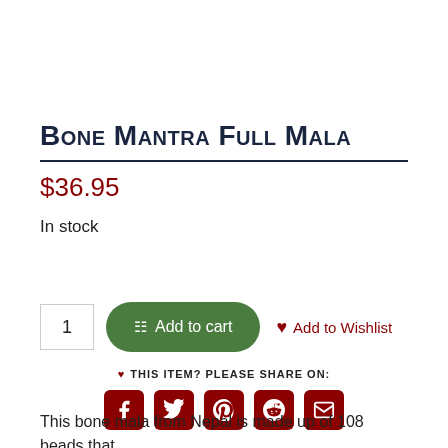Bone Mantra Full Mala
$36.95
In stock
[Figure (screenshot): Add to cart button (green rounded), quantity box showing 1, and Add to Wishlist link with heart icon]
♥ THIS ITEM? PLEASE SHARE ON:
[Figure (infographic): Social share icons: Facebook, Twitter, Pinterest, Reddit, Email — dark red rounded squares]
This bone mala from Nepal is made up of 108 beads that